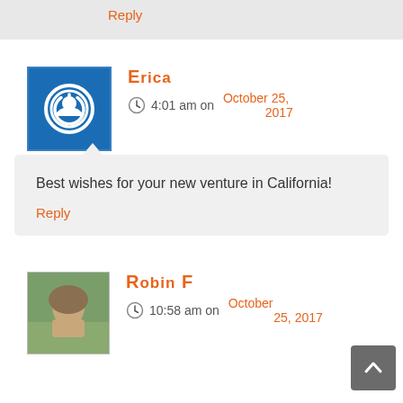Reply
Erica
4:01 am on October 25, 2017
Best wishes for your new venture in California!
Reply
Robin F
10:58 am on October 25, 2017